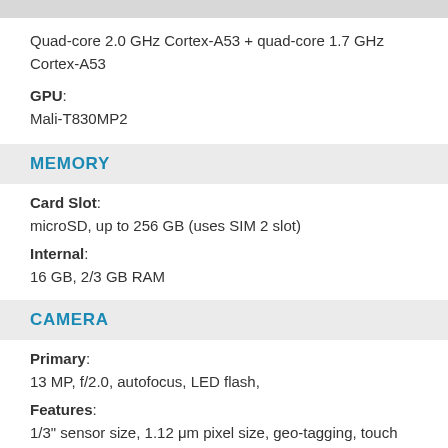Quad-core 2.0 GHz Cortex-A53 + quad-core 1.7 GHz Cortex-A53
GPU: Mali-T830MP2
MEMORY
Card Slot: microSD, up to 256 GB (uses SIM 2 slot)
Internal: 16 GB, 2/3 GB RAM
CAMERA
Primary: 13 MP, f/2.0, autofocus, LED flash,
Features: 1/3" sensor size, 1.12 μm pixel size, geo-tagging, touch focus, face detection, panorama, HDR